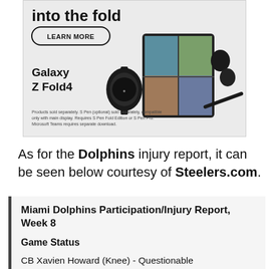[Figure (advertisement): Samsung Galaxy Z Fold4 advertisement showing a foldable phone with a video call on screen, a smartwatch, earbuds, and S Pen. Text says 'into the fold', 'LEARN MORE' button, 'Galaxy Z Fold4'. Disclaimer text below the devices.]
As for the Dolphins injury report, it can be seen below courtesy of Steelers.com.
Miami Dolphins Participation/Injury Report, Week 8
Game Status
CB Xavien Howard (Knee) - Questionable